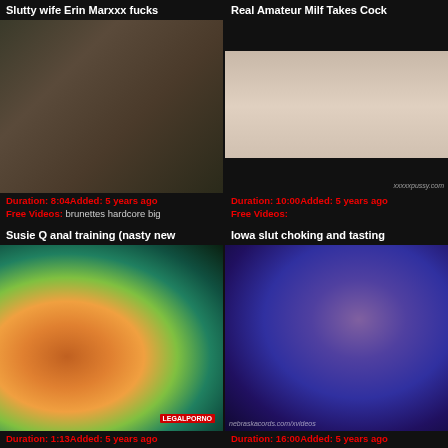Slutty wife Erin Marxxx fucks
[Figure (photo): Video thumbnail - dark toned adult content image]
Duration: 8:04Added: 5 years ago
Free Videos: brunettes hardcore big
Real Amateur Milf Takes Cock
[Figure (photo): Video thumbnail - adult content image with watermark xxxxxpussy.com]
Duration: 10:00Added: 5 years ago
Free Videos:
Susie Q anal training (nasty new
[Figure (photo): Video thumbnail - colorful adult content image with LegalPorno logo]
Duration: 1:13Added: 5 years ago
Iowa slut choking and tasting
[Figure (photo): Video thumbnail - dark purple/blue toned adult content image with nebraskacords.com/xvideos watermark]
Duration: 16:00Added: 5 years ago